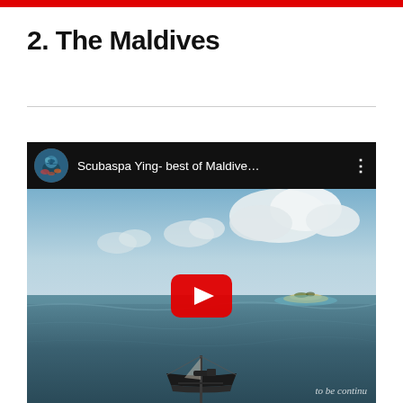2. The Maldives
[Figure (screenshot): YouTube video embed thumbnail showing a sailing vessel on the ocean near a small island atoll, with clouds in the sky. The video title reads 'Scubaspa Ying- best of Maldive...' with a channel avatar (diver/coral reef image) and a YouTube play button overlay. Watermark text 'to be conti...' in bottom right.]